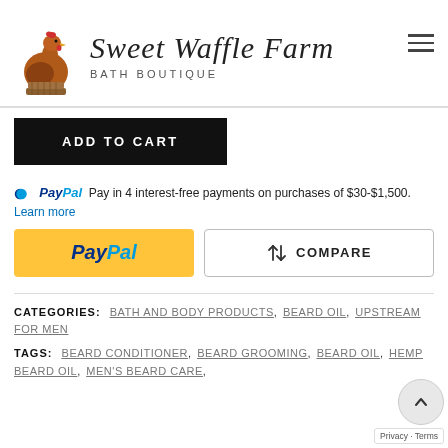[Figure (logo): Sweet Waffle Farm Bath Boutique logo with chicken illustration and cursive brand name]
ADD TO CART
PayPal Pay in 4 interest-free payments on purchases of $30-$1,500. Learn more
[Figure (other): PayPal payment button (yellow) and Compare button]
CATEGORIES: BATH AND BODY PRODUCTS, BEARD OIL, UPSTREAM FOR MEN
TAGS: BEARD CONDITIONER, BEARD GROOMING, BEARD OIL, HEMP BEARD OIL, MEN'S BEARD CARE,